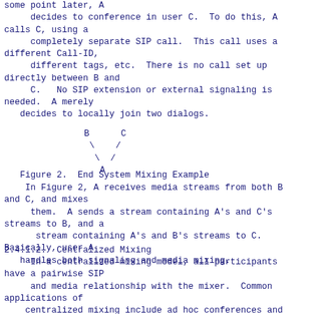some point later, A
     decides to conference in user C.  To do this, A calls C, using a
     completely separate SIP call.  This call uses a different Call-ID,
     different tags, etc.  There is no call set up directly between B and
     C.   No SIP extension or external signaling is needed.  A merely
   decides to locally join two dialogs.
[Figure (illustration): ASCII diagram showing B and C connected by lines to A below, representing End System Mixing topology]
Figure 2.  End System Mixing Example
In Figure 2, A receives media streams from both B and C, and mixes
     them.  A sends a stream containing A's and C's streams to B, and a
      stream containing A's and B's streams to C.  Basically, user A
   handles both signaling and media mixing.
2.4.1.2.  Centralized Mixing
In a centralized mixing model, all participants have a pairwise SIP
     and media relationship with the mixer.  Common applications of
    centralized mixing include ad hoc conferences and scheduled dial-in
     or dial-out conferences.  In Figure 3 below, the